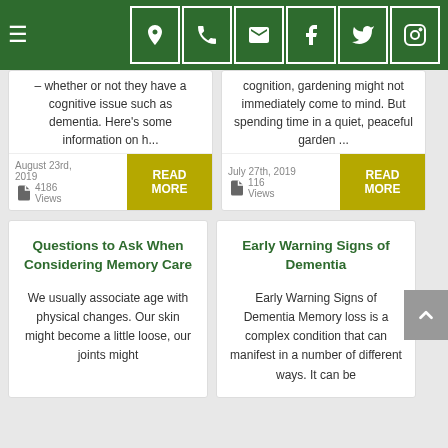Navigation header with hamburger menu and icons: location, phone, email, Facebook, Twitter, Instagram
– whether or not they have a cognitive issue such as dementia. Here's some information on h...
cognition, gardening might not immediately come to mind. But spending time in a quiet, peaceful garden ...
August 23rd, 2019  4186 Views  READ MORE
July 27th, 2019  116 Views  READ MORE
Questions to Ask When Considering Memory Care
We usually associate age with physical changes. Our skin might become a little loose, our joints might
Early Warning Signs of Dementia
Early Warning Signs of Dementia Memory loss is a complex condition that can manifest in a number of different ways. It can be